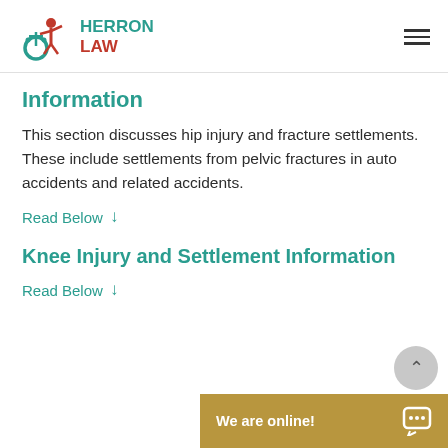HERRON LAW
Information
This section discusses hip injury and fracture settlements. These include settlements from pelvic fractures in auto accidents and related accidents.
Read Below ↓
Knee Injury and Settlement Information
Read Below ↓